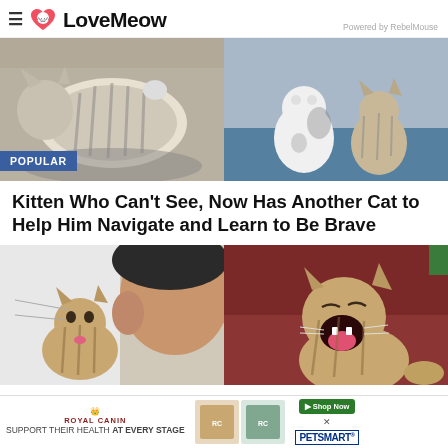LoveMeow — Powered by RebelMouse
[Figure (photo): Two cat photos side by side: left shows a striped cat lying on its back in a round bed; right shows two kittens (striped and white with spots) standing on a blue surface. A blue 'POPULAR' badge is overlaid bottom-left.]
Kitten Who Can't See, Now Has Another Cat to Help Him Navigate and Learn to Be Brave
[Figure (photo): Two kitten photos side by side: left shows a small tabby kitten near a person's ear; right shows a tabby kitten with mouth wide open yawning/meowing.]
[Figure (photo): Royal Canin advertisement banner: 'SUPPORT THEIR HEALTH AT EVERY STAGE' with product images and PetSmart logo.]